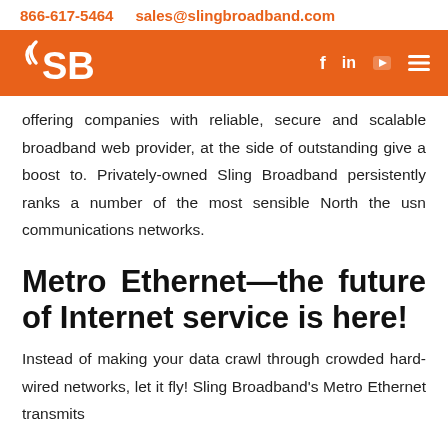866-617-5464   sales@slingbroadband.com
[Figure (logo): Sling Broadband orange navigation bar with SB logo and social media icons (f, in, play button, hamburger menu)]
offering companies with reliable, secure and scalable broadband web provider, at the side of outstanding give a boost to. Privately-owned Sling Broadband persistently ranks a number of the most sensible North the usn communications networks.
Metro Ethernet—the future of Internet service is here!
Instead of making your data crawl through crowded hard-wired networks, let it fly! Sling Broadband's Metro Ethernet transmits